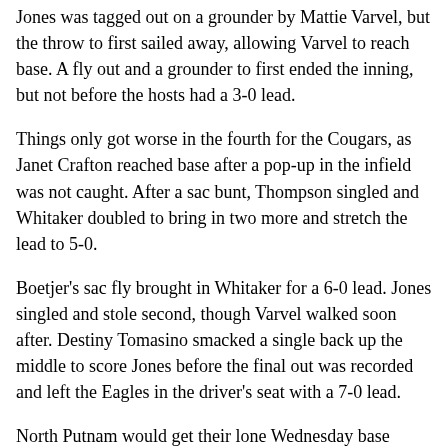Jones was tagged out on a grounder by Mattie Varvel, but the throw to first sailed away, allowing Varvel to reach base. A fly out and a grounder to first ended the inning, but not before the hosts had a 3-0 lead.
Things only got worse in the fourth for the Cougars, as Janet Crafton reached base after a pop-up in the infield was not caught. After a sac bunt, Thompson singled and Whitaker doubled to bring in two more and stretch the lead to 5-0.
Boetjer's sac fly brought in Whitaker for a 6-0 lead. Jones singled and stole second, though Varvel walked soon after. Destiny Tomasino smacked a single back up the middle to score Jones before the final out was recorded and left the Eagles in the driver's seat with a 7-0 lead.
North Putnam would get their lone Wednesday base runner in the fifth when Laken Pugh walked, but the Cougars could not get her past first and were unable to mount any offense thereafter.